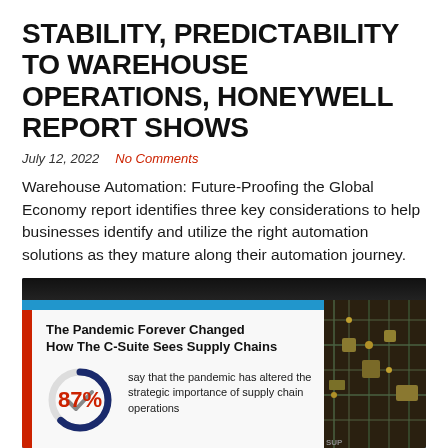STABILITY, PREDICTABILITY TO WAREHOUSE OPERATIONS, HONEYWELL REPORT SHOWS
July 12, 2022   No Comments
Warehouse Automation: Future-Proofing the Global Economy report identifies three key considerations to help businesses identify and utilize the right automation solutions as they mature along their automation journey.
Read More
[Figure (photo): Infographic image showing 'The Pandemic Forever Changed How The C-Suite Sees Supply Chains' with a donut chart showing 87% statistic: 'say that the pandemic has altered the strategic importance of supply chain operations'. Image has a blue background with a white card overlay and circuit board visible on the right.]